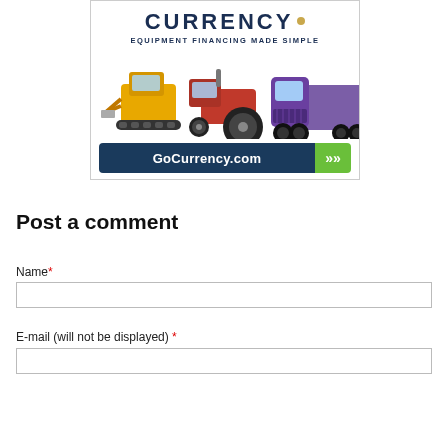[Figure (advertisement): Currency equipment financing advertisement with logo 'CURRENCY.' subtitle 'EQUIPMENT FINANCING MADE SIMPLE', image of construction equipment (skid steer, tractor, semi truck), and call-to-action button 'GoCurrency.com >>']
Post a comment
Name *
E-mail (will not be displayed) *